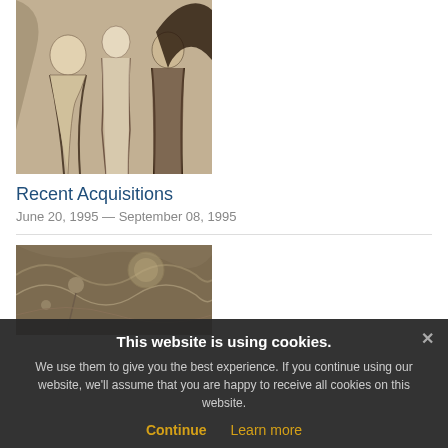[Figure (photo): Sepia-toned artwork showing three female figures, likely an Edvard Munch print or drawing]
Recent Acquisitions
June 20, 1995 — September 08, 1995
[Figure (photo): Sepia-toned artwork showing swirling figures and organic forms, a decorative print or illustration]
This website is using cookies.
We use them to give you the best experience. If you continue using our website, we'll assume that you are happy to receive all cookies on this website.
Continue
Learn more